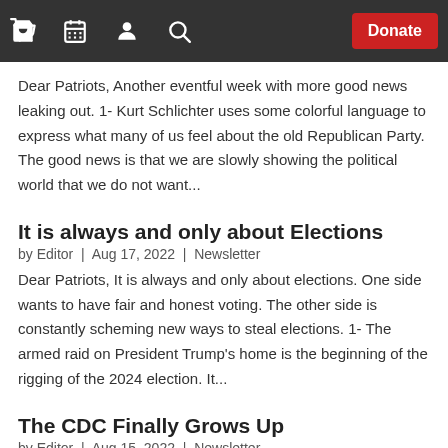Navbar with cart, calendar, user, search icons and Donate button
Dear Patriots, Another eventful week with more good news leaking out. 1- Kurt Schlichter uses some colorful language to express what many of us feel about the old Republican Party. The good news is that we are slowly showing the political world that we do not want...
It is always and only about Elections
by Editor | Aug 17, 2022 | Newsletter
Dear Patriots, It is always and only about elections. One side wants to have fair and honest voting. The other side is constantly scheming new ways to steal elections. 1- The armed raid on President Trump's home is the beginning of the rigging of the 2024 election. It...
The CDC Finally Grows Up
by Editor | Aug 15, 2022 | Newsletter